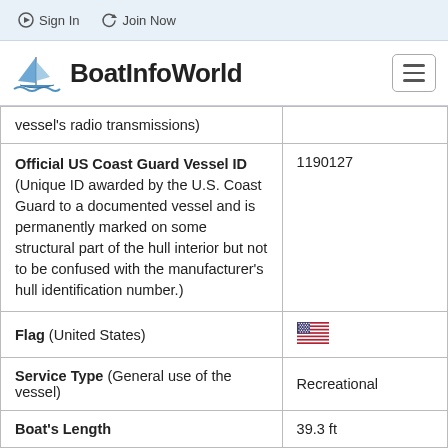Sign In   Join Now
[Figure (logo): BoatInfoWorld logo with sailboat icon]
| Field | Value |
| --- | --- |
| vessel's radio transmissions) |  |
| Official US Coast Guard Vessel ID (Unique ID awarded by the U.S. Coast Guard to a documented vessel and is permanently marked on some structural part of the hull interior but not to be confused with the manufacturer's hull identification number.) | 1190127 |
| Flag (United States) | [US Flag] |
| Service Type (General use of the vessel) | Recreational |
| Boat's Length | 39.3 ft |
| Boat's Gross Tons | 22.0 |
| Boat's Net Tons | 18.0 |